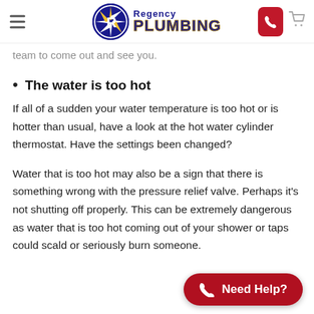Regency Plumbing
team to come out and see you.
The water is too hot
If all of a sudden your water temperature is too hot or is hotter than usual, have a look at the hot water cylinder thermostat. Have the settings been changed?
Water that is too hot may also be a sign that there is something wrong with the pressure relief valve. Perhaps it's not shutting off properly. This can be extremely dangerous as water that is too hot coming out of your shower or taps could scald or seriously burn someone.